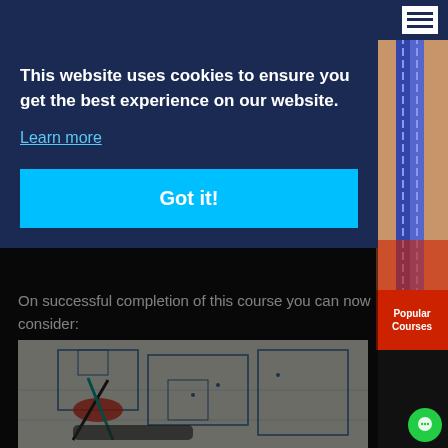[Figure (screenshot): Website cookie consent banner overlay on an educational course page. Dark navy blue overlay with white bold text, a cyan 'Learn more' link, and a bright cyan 'Got it!' button. Right sidebar shows a close-up photo of stitching fabric and a red 'Popular Courses' label. Bottom shows text 'On successful completion of this course you can now consider:' and a blueprint/architectural drawing photo with compass and tape.]
This website uses cookies to ensure you get the best experience on our website.
Learn more
Got it!
On successful completion of this course you can now consider:
[Figure (photo): Architectural blueprint/floor plan with a drafting compass and tape measure on top]